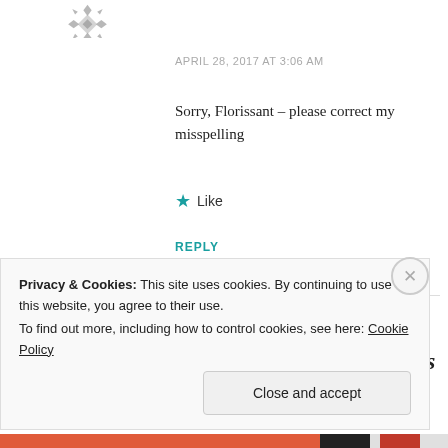[Figure (logo): Decorative geometric snowflake/star avatar icon, partially visible at top-left]
APRIL 28, 2017 AT 3:06 AM
Sorry, Florissant – please correct my misspelling
★ Like
REPLY
[Figure (logo): Purple geometric quilted pattern avatar for stellamarisproductions]
stellamarisproductions
Privacy & Cookies: This site uses cookies. By continuing to use this website, you agree to their use.
To find out more, including how to control cookies, see here: Cookie Policy
Close and accept